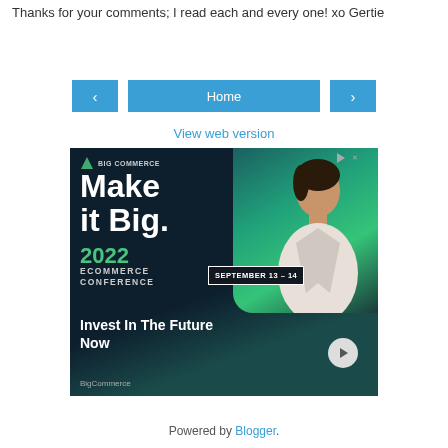Thanks for your comments; I read each and every one! xo Gertie
[Figure (screenshot): Navigation buttons: left arrow, Home button, right arrow, and View web version link]
[Figure (illustration): BigCommerce advertisement: Make it Big. 2022 Ecommerce Conference September 13-14, Invest In The Future Now, with woman photo and teal background]
Powered by Blogger.